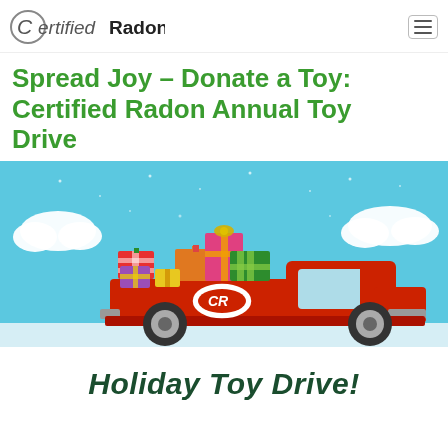CertifiedRadon
Spread Joy – Donate a Toy: Certified Radon Annual Toy Drive
[Figure (illustration): Illustration of a red pickup truck with 'CR' logo on the door, loaded with colorful wrapped gift boxes in the truck bed, set against a light blue sky with white clouds and snow dots.]
Holiday Toy Drive!